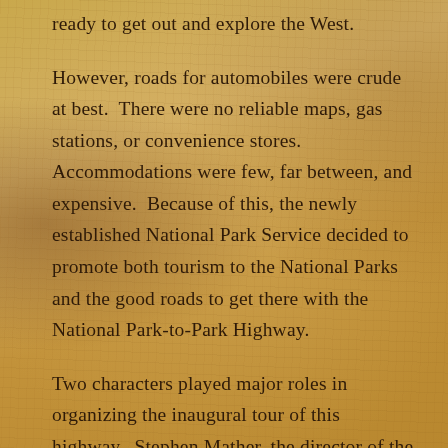ready to get out and explore the West.
However, roads for automobiles were crude at best. There were no reliable maps, gas stations, or convenience stores. Accommodations were few, far between, and expensive. Because of this, the newly established National Park Service decided to promote both tourism to the National Parks and the good roads to get there with the National Park-to-Park Highway.
Two characters played major roles in organizing the inaugural tour of this highway. Stephen Mather, the director of the National Park Service, was the major